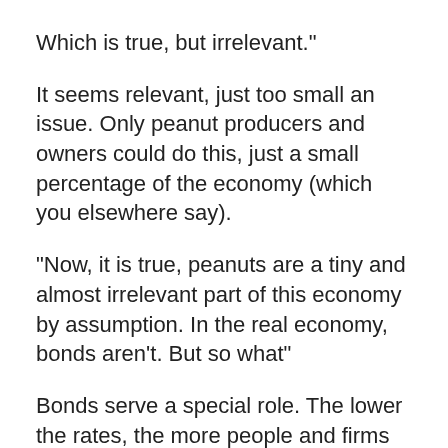Which is true, but irrelevant."
It seems relevant, just too small an issue. Only peanut producers and owners could do this, just a small percentage of the economy (which you elsewhere say).
"Now, it is true, peanuts are a tiny and almost irrelevant part of this economy by assumption. In the real economy, bonds aren't. But so what"
Bonds serve a special role. The lower the rates, the more people and firms borrow, and so the greater the velocity of money, and the greater the...